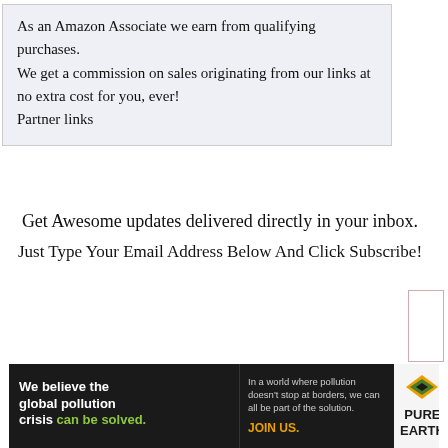As an Amazon Associate we earn from qualifying purchases.
We get a commission on sales originating from our links at no extra cost for you, ever!
Partner links
Get Awesome updates delivered directly in your inbox.
Just Type Your Email Address Below And Click Subscribe!
Email*
[Figure (infographic): Pure Earth advertisement banner: black background with bold white text 'We believe the global pollution crisis can be solved.' with 'can be solved.' in green. Middle section says 'In a world where pollution doesn't stop at borders, we can all be part of the solution.' and 'JOIN US.' in orange/yellow. Right section shows Pure Earth logo with a diamond/chevron icon and text 'PURE EARTH' on light background.]